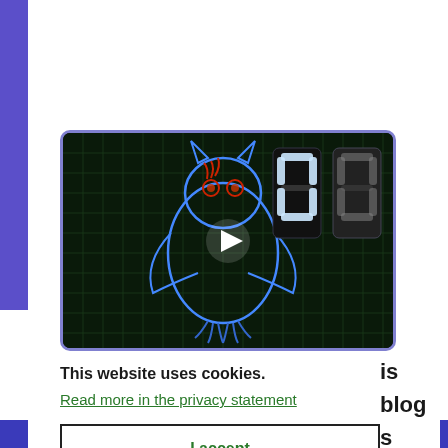[Figure (screenshot): Video thumbnail with dark grid background showing a neon owl illustration and two glowing digital '00' digits. A white play button triangle is centered on the image. The video frame has a purple/blue border with rounded corners.]
This website uses cookies.
Read more in the privacy statement
I accept
is blog s been discontinu